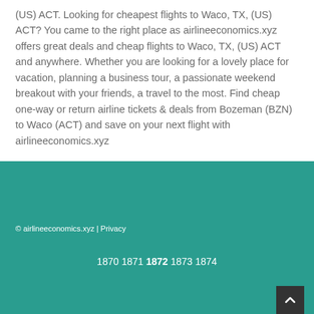(US) ACT. Looking for cheapest flights to Waco, TX, (US) ACT? You came to the right place as airlineeconomics.xyz offers great deals and cheap flights to Waco, TX, (US) ACT and anywhere. Whether you are looking for a lovely place for vacation, planning a business tour, a passionate weekend breakout with your friends, a travel to the most. Find cheap one-way or return airline tickets & deals from Bozeman (BZN) to Waco (ACT) and save on your next flight with airlineeconomics.xyz
© airlineeconomics.xyz | Privacy
1870 1871 1872 1873 1874